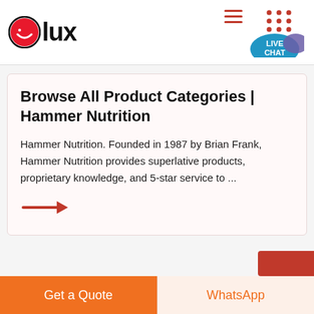[Figure (logo): Olux logo: red circle with white smile icon on left, bold black text 'lux' on right]
[Figure (infographic): Red hamburger menu icon (three horizontal lines) and a grid of 9 dots icon in top right, with a teal LIVE CHAT speech bubble below]
Browse All Product Categories | Hammer Nutrition
Hammer Nutrition. Founded in 1987 by Brian Frank, Hammer Nutrition provides superlative products, proprietary knowledge, and 5-star service to ...
[Figure (illustration): Red right-pointing arrow]
Get a Quote
WhatsApp